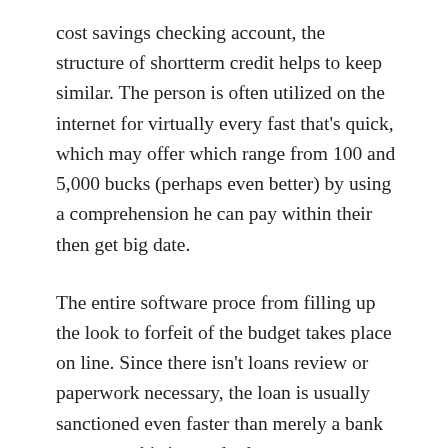cost savings checking account, the structure of shortterm credit helps to keep similar. The person is often utilized on the internet for virtually every fast that's quick, which may offer which range from 100 and 5,000 bucks (perhaps even better) by using a comprehension he can pay within their then get big date.
The entire software proce from filling up the look to forfeit of the budget takes place on line. Since there isn't loans review or paperwork necessary, the loan is usually sanctioned even faster than merely a bank mortgage this is standard.
The consumer might get money on the afternoon that's the exact same second busine hours, generally within 24 hours. But if you have just kids financial savings, anticipate